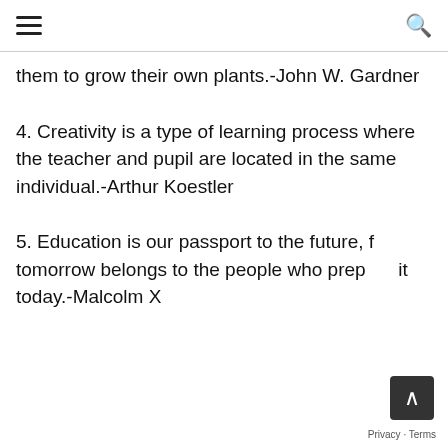≡  🔍
them to grow their own plants.-John W. Gardner
4. Creativity is a type of learning process where the teacher and pupil are located in the same individual.-Arthur Koestler
5. Education is our passport to the future, for tomorrow belongs to the people who prepare it today.-Malcolm X